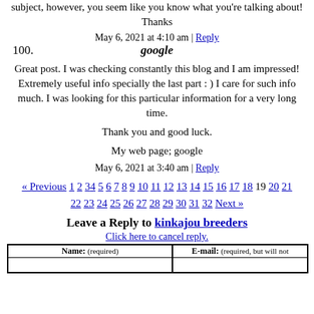subject, however, you seem like you know what you're talking about! Thanks
May 6, 2021 at 4:10 am | Reply
100. google
Great post. I was checking constantly this blog and I am impressed! Extremely useful info specially the last part : ) I care for such info much. I was looking for this particular information for a very long time.
Thank you and good luck.
My web page; google
May 6, 2021 at 3:40 am | Reply
« Previous 1 2 3 4 5 6 7 8 9 10 11 12 13 14 15 16 17 18 19 20 21 22 23 24 25 26 27 28 29 30 31 32 Next »
Leave a Reply to kinkajou breeders
Click here to cancel reply.
| Name: (required) | E-mail: (required, but will not be shown) |
| --- | --- |
|  |  |